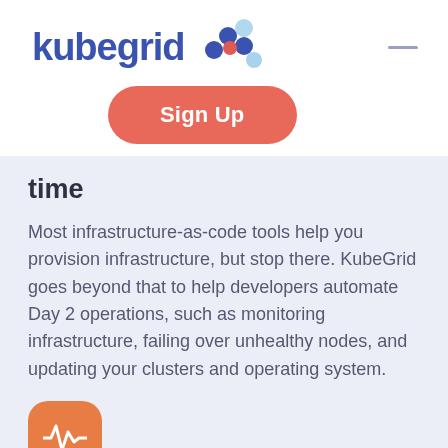[Figure (logo): KubeGrid logo with text 'kubegrid' in bold blue and a hexagonal cluster icon in blue and red dots]
[Figure (other): Hamburger menu icon (horizontal line) in purple/blue color in top right corner]
Sign Up
time
Most infrastructure-as-code tools help you provision infrastructure, but stop there. KubeGrid goes beyond that to help developers automate Day 2 operations, such as monitoring infrastructure, failing over unhealthy nodes, and updating your clusters and operating system.
[Figure (illustration): Orange rounded square icon with a white heartbeat/waveform line symbol]